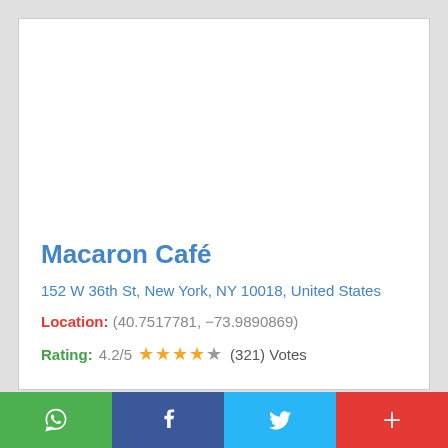Macaron Café
152 W 36th St, New York, NY 10018, United States
Location: (40.7517781, −73.9890869)
Rating: 4.2/5 ★★★★☆ (321) Votes